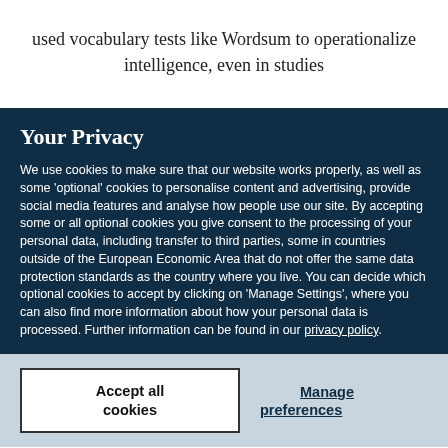used vocabulary tests like Wordsum to operationalize intelligence, even in studies
Your Privacy
We use cookies to make sure that our website works properly, as well as some 'optional' cookies to personalise content and advertising, provide social media features and analyse how people use our site. By accepting some or all optional cookies you give consent to the processing of your personal data, including transfer to third parties, some in countries outside of the European Economic Area that do not offer the same data protection standards as the country where you live. You can decide which optional cookies to accept by clicking on 'Manage Settings', where you can also find more information about how your personal data is processed. Further information can be found in our privacy policy.
Accept all cookies
Manage preferences